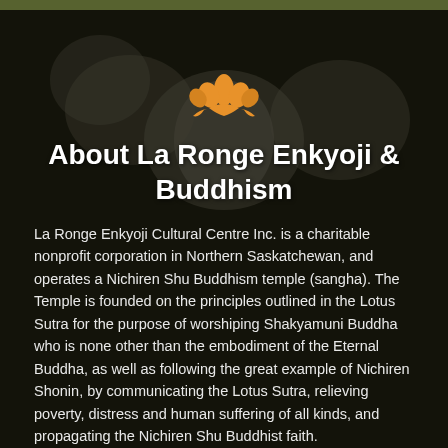[Figure (illustration): Orange/amber lotus flower icon centered above the title]
About La Ronge Enkyoji & Buddhism
La Ronge Enkyoji Cultural Centre Inc. is a charitable nonprofit corporation in Northern Saskatchewan, and operates a Nichiren Shu Buddhism temple (sangha). The Temple is founded on the principles outlined in the Lotus Sutra for the purpose of worshiping Shakyamuni Buddha who is none other than the embodiment of the Eternal Buddha, as well as following the great example of Nichiren Shonin, by communicating the Lotus Sutra, relieving poverty, distress and human suffering of all kinds, and propagating the Nichiren Shu Buddhist faith.